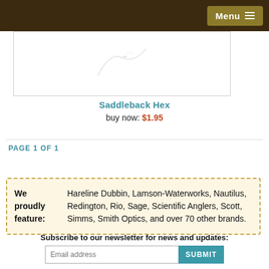Menu
[Figure (photo): Product image area for Saddleback Hex fly fishing fly, shown partially with decorative feather/fly illustration]
Saddleback Hex
buy now: $1.95
PAGE 1 OF 1
We proudly feature: Hareline Dubbin, Lamson-Waterworks, Nautilus, Redington, Rio, Sage, Scientific Anglers, Scott, Simms, Smith Optics, and over 70 other brands.
Subscribe to our newsletter for news and updates: